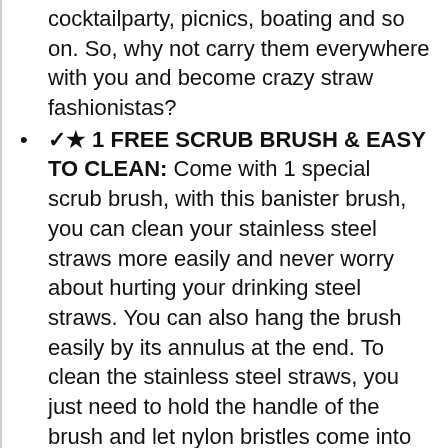cocktailparty, picnics, boating and so on. So, why not carry them everywhere with you and become crazy straw fashionistas?
✓★ 1 FREE SCRUB BRUSH & EASY TO CLEAN: Come with 1 special scrub brush, with this banister brush, you can clean your stainless steel straws more easily and never worry about hurting your drinking steel straws. You can also hang the brush easily by its annulus at the end. To clean the stainless steel straws, you just need to hold the handle of the brush and let nylon bristles come into the stainless straws, the brush is of